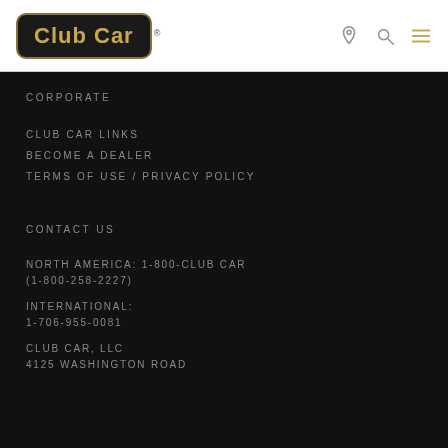[Figure (logo): Club Car logo in black rounded rectangle with gold border and gold text]
CORPORATE
CLUB CAR LINKS
BECOME A DEALER
TERMS OF USE / PRIVACY POLICY
CONTACT US
NORTH AMERICA: 1-800-CLUB CAR (1-800-258-2227)
INTERNATIONAL: 1-706-955-0081
CLUB CAR, LLC
4125 WASHINGTON ROAD